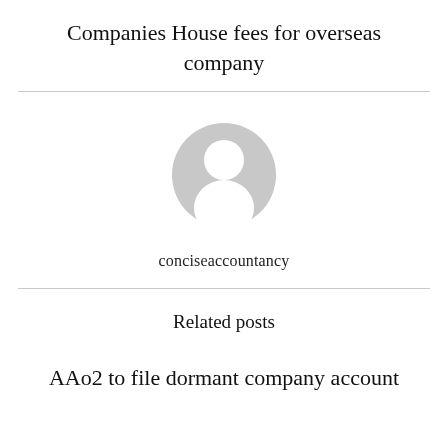Companies House fees for overseas company
[Figure (illustration): Grey circular avatar/profile placeholder icon showing a person silhouette]
conciseaccountancy
Related posts
AAo2 to file dormant company account